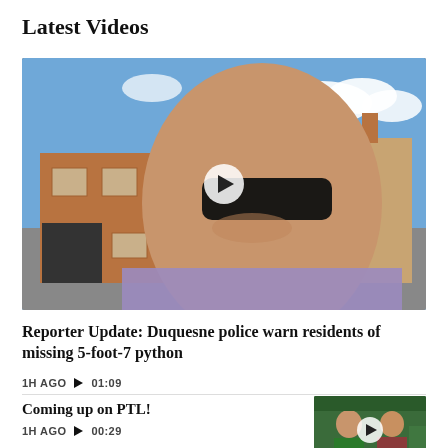Latest Videos
[Figure (photo): A man in sunglasses and a purple shirt standing in front of a brick building with a play button overlay, main video thumbnail.]
Reporter Update: Duquesne police warn residents of missing 5-foot-7 python
1H AGO ▶ 01:09
Coming up on PTL!
1H AGO ▶ 00:29
[Figure (photo): Two news anchors in a studio, small video thumbnail for Coming up on PTL!]